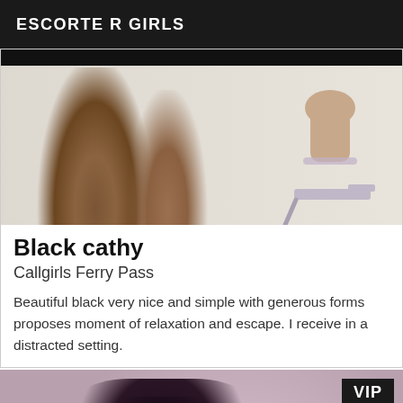ESCORTE R GIRLS
[Figure (photo): Photo of legs of a woman in heels near a white car]
Black cathy
Callgirls Ferry Pass
Beautiful black very nice and simple with generous forms proposes moment of relaxation and escape. I receive in a distracted setting.
[Figure (photo): Photo of woman's legs in black lace stockings, with VIP badge]